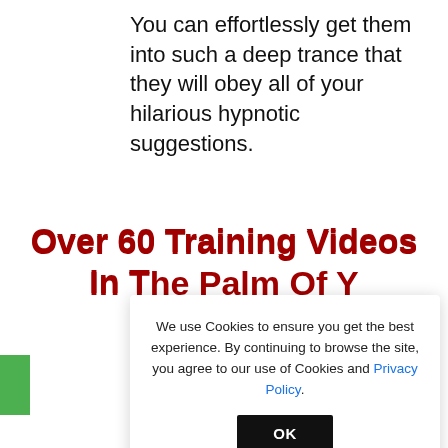You can effortlessly get them into such a deep trance that they will obey all of your hilarious hypnotic suggestions.
Over 60 Training Videos In T... Palm Of Y...
We use Cookies to ensure you get the best experience. By continuing to browse the site, you agree to our use of Cookies and Privacy Policy.
OK